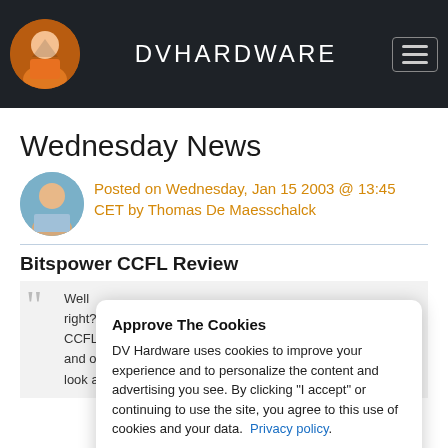DVHARDWARE
Wednesday News
Posted on Wednesday, Jan 15 2003 @ 13:45 CET by Thomas De Maesschalck
Bitspower CCFL Review
Well right? CCFL and o look a
Approve The Cookies
DV Hardware uses cookies to improve your experience and to personalize the content and advertising you see. By clicking "I accept" or continuing to use the site, you agree to this use of cookies and your data. Privacy policy.
I accept